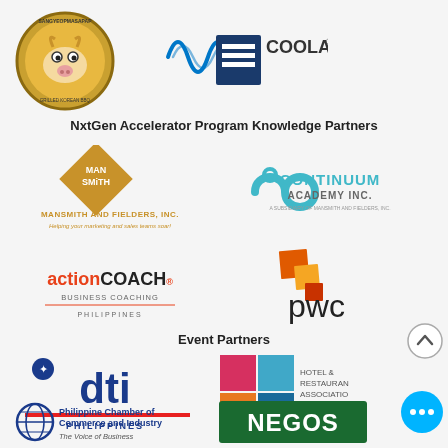[Figure (logo): Sangyeopmasapap Korean BBQ circular logo with cow illustration]
[Figure (logo): Coolaire logo with blue wave arcs and blue square with white lines]
NxtGen Accelerator Program Knowledge Partners
[Figure (logo): Mansmith and Fielders Inc. logo - diamond shape with MANSMITH text, tagline: Helping your marketing and sales teams soar!]
[Figure (logo): Continuum Academy Inc. logo - teal infinity/figure-8 icon with text]
[Figure (logo): ActionCOACH Business Coaching Philippines logo]
[Figure (logo): PwC logo with orange/red/yellow stacked squares and pwc text]
Event Partners
[Figure (logo): DTI Philippines logo - blue letters with person icon and red underline]
[Figure (logo): HRAP Hotel and Restaurant Association of the Philippines logo]
[Figure (logo): Philippine Chamber of Commerce and Industry - The Voice of Business]
[Figure (logo): Negosyo logo in green bold text]